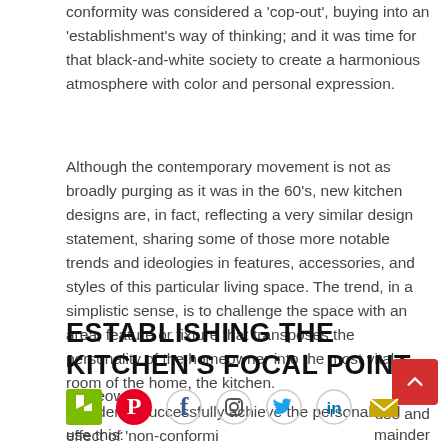conformity was considered a 'cop-out', buying into an 'establishment's way of thinking; and it was time for that black-and-white society to create a harmonious atmosphere with color and personal expression.
Although the contemporary movement is not as broadly purging as it was in the 60's, new kitchen designs are, in fact, reflecting a very similar design statement, sharing some of those more notable trends and ideologies in features, accessories, and styles of this particular living space. The trend, in a simplistic sense, is to challenge the space with an area, feature or fixture that transposes the personality of the homeowner into the most vital room of the home, the kitchen.
ESTABLISHING THE KITCHEN'S FOCAL POINT
In order to successfully achieve the personalized effect of 'non-conformi... homeow... use and use this: mainder